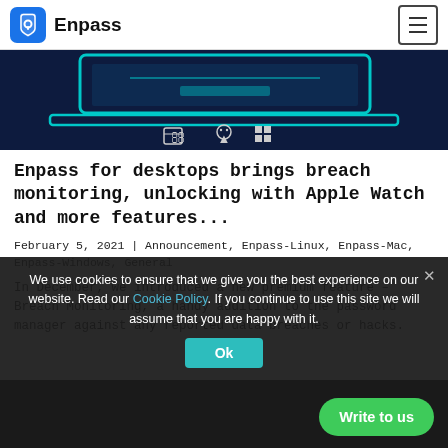Enpass
[Figure (illustration): Dark navy hero image showing a laptop/desktop illustration with teal/cyan outlines, and icons for Mac, Linux, and Windows platforms at the bottom]
Enpass for desktops brings breach monitoring, unlocking with Apple Watch and more features...
February 5, 2021 | Announcement, Enpass-Linux, Enpass-Mac, Enpass-Windows, General
In December, we introduced a new premium feature – Breach Monitoring, a handy addition to the password manager against any reported data breaches or hacks.
We use cookies to ensure that we give you the best experience on our website. Read our Cookie Policy. If you continue to use this site we will assume that you are happy with it.